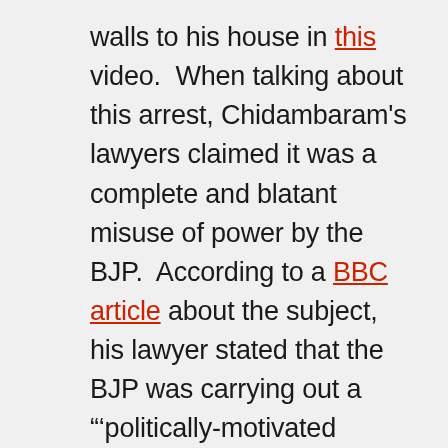walls to his house in this video. When talking about this arrest, Chidambaram's lawyers claimed it was a complete and blatant misuse of power by the BJP. According to a BBC article about the subject, his lawyer stated that the BJP was carrying out a "'politically-motivated vendetta'" against Chidambaram (BBC 2019). Furthermore, both Modi and Chidambaram are seen to have little toleration for the other. In a tweet posted by Modi in 2013, he writes, "Economy is in trouble, youth want jobs. Devote more time to economics, not petty politics. Chidambaram ji, please focus on the job at hand" (Narendra Modi 2013). Chidambaram responded to this tweet recently. He wrote, "I have to say the same thing to the Honorable